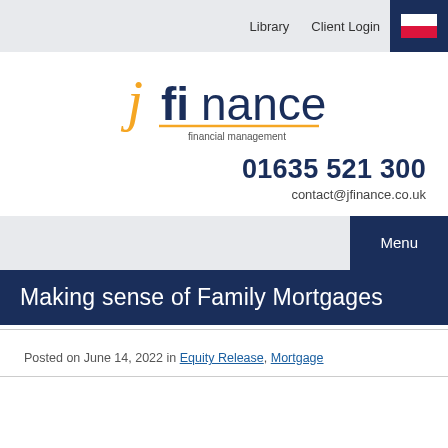Library   Client Login
[Figure (logo): jfinance financial management logo with yellow 'j' character and dark blue 'finance' text with gold underline]
01635 521 300
contact@jfinance.co.uk
Menu
Making sense of Family Mortgages
Posted on June 14, 2022 in  Equity Release,  Mortgage